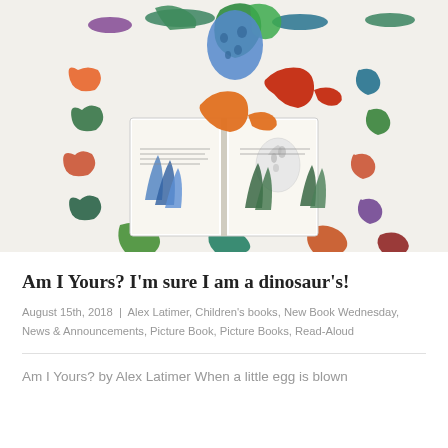[Figure (photo): Photo of an open children's book about dinosaurs, surrounded by dinosaur-themed wrapping paper/poster. The book shows illustrated pages with dinosaur eggs and vegetation. Colorful dinosaur cutouts are placed on top of the book. The background is covered with a pattern of illustrated dinosaurs of various species in different colors.]
Am I Yours? I'm sure I am a dinosaur's!
August 15th, 2018 | Alex Latimer, Children's books, New Book Wednesday, News & Announcements, Picture Book, Picture Books, Read-Aloud
Am I Yours? by Alex Latimer When a little egg is blown